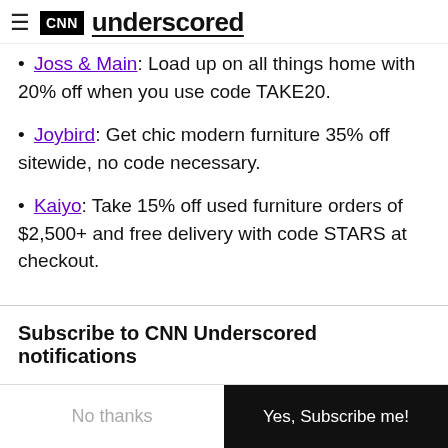CNN underscored
Joss & Main: Load up on all things home with 20% off when you use code TAKE20.
Joybird: Get chic modern furniture 35% off sitewide, no code necessary.
Kaiyo: Take 15% off used furniture orders of $2,500+ and free delivery with code STARS at checkout.
Subscribe to CNN Underscored notifications
Never miss out on a product worth buying or a sale worth shopping by subscribing to our push notifications.
No thanks
Yes, Subscribe me!